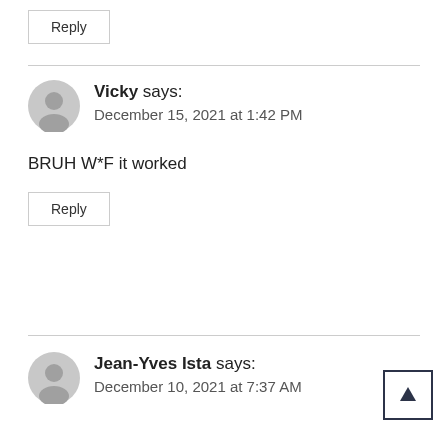Reply
Vicky says:
December 15, 2021 at 1:42 PM
BRUH W*F it worked
Reply
Jean-Yves Ista says:
December 10, 2021 at 7:37 AM